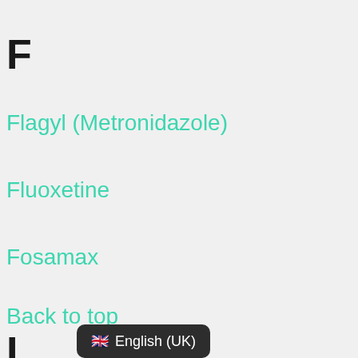F
Flagyl (Metronidazole)
Fluoxetine
Fosamax
Back to top
I
🇬🇧 English (UK)